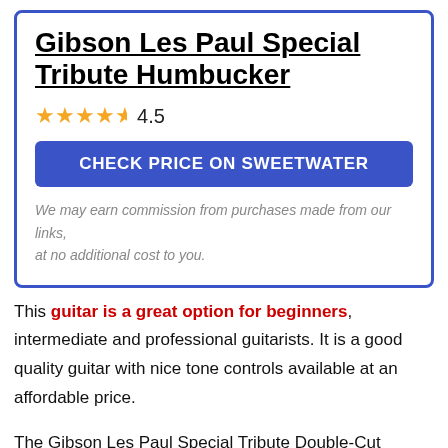Gibson Les Paul Special Tribute Humbucker
★★★★½ 4.5
CHECK PRICE ON SWEETWATER
We may earn commission from purchases made from our links, at no additional cost to you.
This guitar is a great option for beginners, intermediate and professional guitarists. It is a good quality guitar with nice tone controls available at an affordable price.
The Gibson Les Paul Special Tribute Double-Cut Electric Guitar features a solid mahogany body with AAA flame maple top and set mahogany neck. This guitar has an